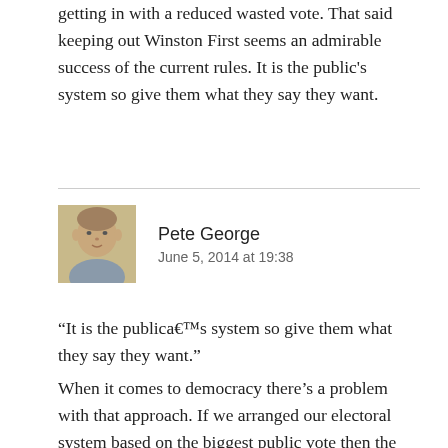getting in with a reduced wasted vote. That said keeping out Winston First seems an admirable success of the current rules. It is the public's system so give them what they say they want.
Pete George
June 5, 2014 at 19:38
“It is the publica€™s system so give them what they say they want.”
When it comes to democracy there’s a problem with that approach. If we arranged our electoral system based on the biggest public vote then the majority may be quite happy to shut out a minority from getting representation for their vote because that suits the majority, but it’s bad democracy.